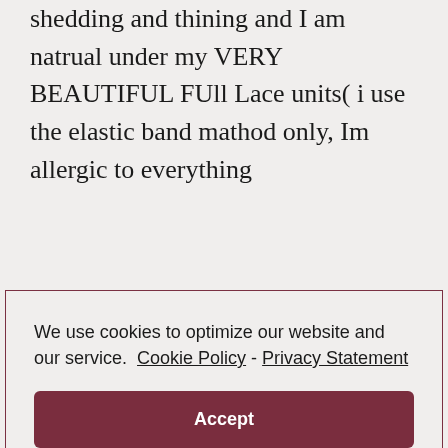shedding and thining and I am natrual under my VERY BEAUTIFUL FUll Lace units( i use the elastic band mathod only, Im allergic to everything
We use cookies to optimize our website and our service.  Cookie Policy - Privacy Statement
Accept
conditioner only in my fragile hair which also helps keeping it moist and not dry). I’m all dolled up when its time to leave the house lol its like